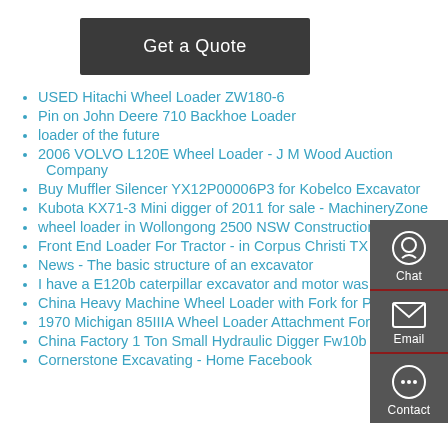Get a Quote
USED Hitachi Wheel Loader ZW180-6
Pin on John Deere 710 Backhoe Loader
loader of the future
2006 VOLVO L120E Wheel Loader - J M Wood Auction Company
Buy Muffler Silencer YX12P00006P3 for Kobelco Excavator
Kubota KX71-3 Mini digger of 2011 for sale - MachineryZone
wheel loader in Wollongong 2500 NSW Construction
Front End Loader For Tractor - in Corpus Christi TX - Shoppok
News - The basic structure of an excavator
I have a E120b caterpillar excavator and motor was almost
China Heavy Machine Wheel Loader with Fork for Poland
1970 Michigan 85IIIA Wheel Loader Attachment For Sale
China Factory 1 Ton Small Hydraulic Digger Fw10b Mini
Cornerstone Excavating - Home Facebook